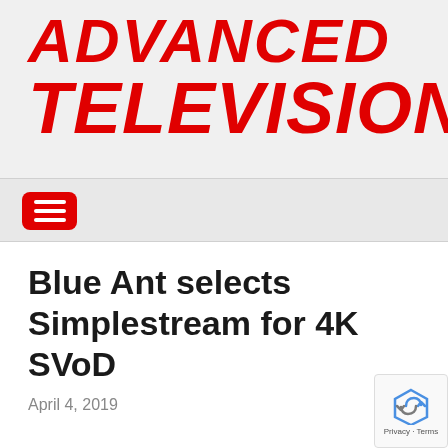ADVANCED TELEVISION
[Figure (other): Hamburger menu button (red rounded rectangle with three white horizontal lines)]
Blue Ant selects Simplestream for 4K SVoD
April 4, 2019
[Figure (other): Google reCAPTCHA badge with Privacy and Terms text]